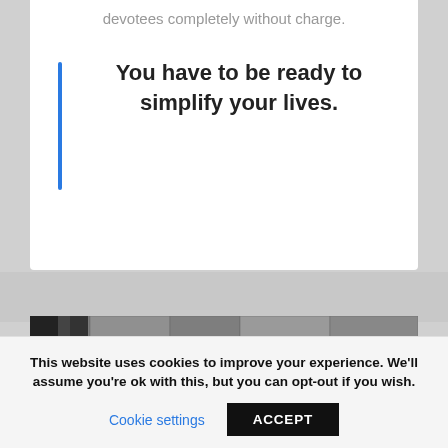devotees completely without charge.
You have to be ready to simplify your lives.
[Figure (photo): Black and white photo showing the top of a person's head (bald/shaved) against a stone or brick wall background.]
This website uses cookies to improve your experience. We'll assume you're ok with this, but you can opt-out if you wish.
Cookie settings
ACCEPT